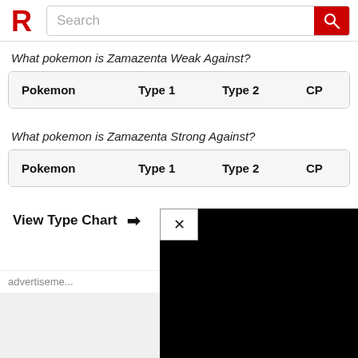Search
What pokemon is Zamazenta Weak Against?
| Pokemon | Type 1 | Type 2 | CP |
| --- | --- | --- | --- |
What pokemon is Zamazenta Strong Against?
| Pokemon | Type 1 | Type 2 | CP |
| --- | --- | --- | --- |
View Type Chart →
[Figure (screenshot): Black advertisement overlay with close button (×)]
advertiseme...